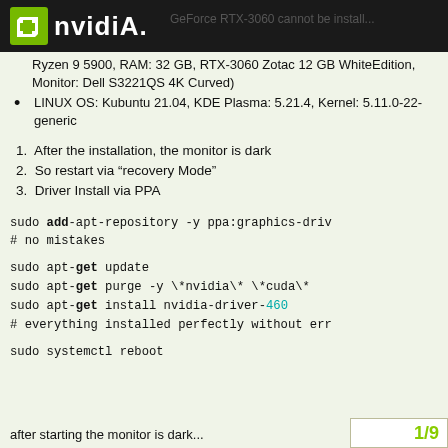NVIDIA — GeForce RTX-3060 cannot be install...
Ryzen 9 5900, RAM: 32 GB, RTX-3060 Zotac 12 GB WhiteEdition, Monitor: Dell S3221QS 4K Curved)
LINUX OS: Kubuntu 21.04, KDE Plasma: 5.21.4, Kernel: 5.11.0-22-generic
1. After the installation, the monitor is dark
2. So restart via “recovery Mode”
3. Driver Install via PPA
sudo add-apt-repository -y ppa:graphics-driv
# no mistakes

sudo apt-get update
sudo apt-get purge -y \*nvidia\* \*cuda\*
sudo apt-get install nvidia-driver-460
# everything installed perfectly without err

sudo systemctl reboot
1/9